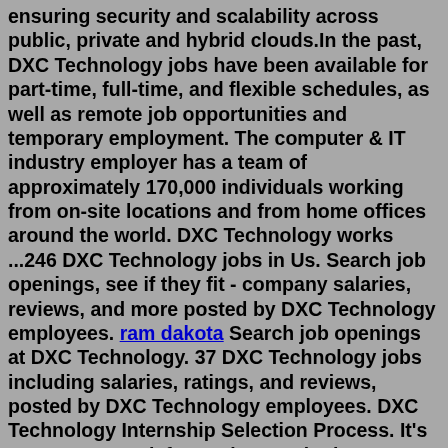ensuring security and scalability across public, private and hybrid clouds.In the past, DXC Technology jobs have been available for part-time, full-time, and flexible schedules, as well as remote job opportunities and temporary employment. The computer & IT industry employer has a team of approximately 170,000 individuals working from on-site locations and from home offices around the world. DXC Technology works ...246 DXC Technology jobs in Us. Search job openings, see if they fit - company salaries, reviews, and more posted by DXC Technology employees. ram dakota Search job openings at DXC Technology. 37 DXC Technology jobs including salaries, ratings, and reviews, posted by DXC Technology employees. DXC Technology Internship Selection Process. It's not an easy task for aspirants who have applied for the DXC Technology Internship 2022 to get selected. The recruitment team of DXC Technology will usually conduct an Online Test/ Coding round and then followed by a Technical & HR round to hire the students/ freshers as